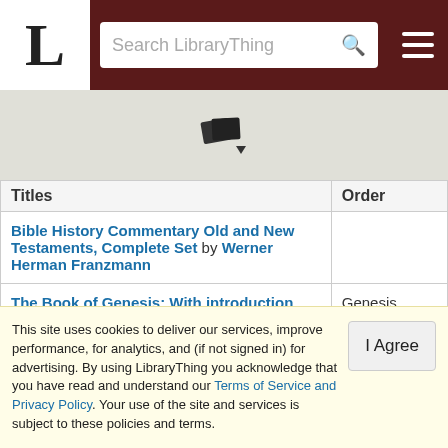LibraryThing navigation bar with logo L, search box, and hamburger menu
[Figure (icon): Books/documents icon with dropdown arrow]
| Titles | Order |
| --- | --- |
| Bible History Commentary Old and New Testaments, Complete Set by Werner Herman Franzmann |  |
| The Book of Genesis: With introduction and notes by S. R. Driver | Genesis 7:13,9:18-19,10:2 |
| A Commentary on Genesis 1-11 by Carl J. Lawrenz | Genesis 7:13,9:18- |
This site uses cookies to deliver our services, improve performance, for analytics, and (if not signed in) for advertising. By using LibraryThing you acknowledge that you have read and understand our Terms of Service and Privacy Policy. Your use of the site and services is subject to these policies and terms.